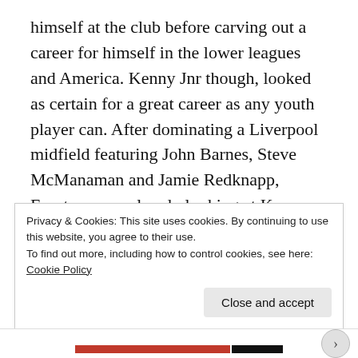himself at the club before carving out a career for himself in the lower leagues and America. Kenny Jnr though, looked as certain for a great career as any youth player can. After dominating a Liverpool midfield featuring John Barnes, Steve McManaman and Jamie Redknapp, Everton were already looking at Kenny as the man to one day build their team around.

As a youth player, Kenny's reputation on Merseyside had been rising from a young age, and it was no
Privacy & Cookies: This site uses cookies. By continuing to use this website, you agree to their use.
To find out more, including how to control cookies, see here: Cookie Policy
Close and accept